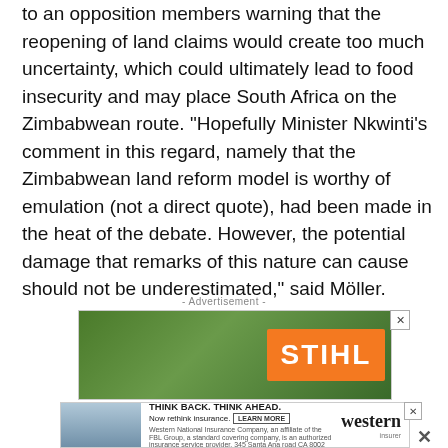to an opposition members warning that the reopening of land claims would create too much uncertainty, which could ultimately lead to food insecurity and may place South Africa on the Zimbabwean route. “Hopefully Minister Nkwinti’s comment in this regard, namely that the Zimbabwean land reform model is worthy of emulation (not a direct quote), had been made in the heat of the debate. However, the potential damage that remarks of this nature can cause should not be underestimated,” said Möller.
- Advertisement -
[Figure (photo): STIHL advertisement banner showing a man outdoors with trees in background and STIHL orange logo]
[Figure (photo): Western insurance advertisement: THINK BACK. THINK AHEAD. Now rethink insurance. LEARN MORE. western insurer logo.]